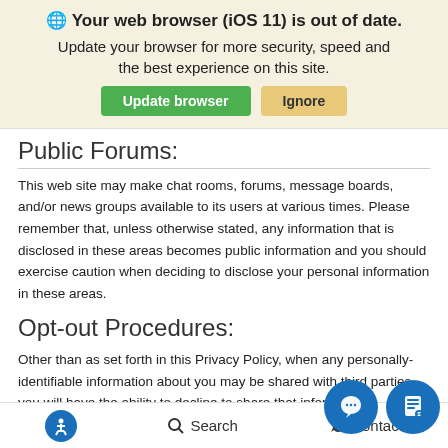[Figure (screenshot): Browser update notification banner with globe icon, bold title 'Your web browser (iOS 11) is out of date.', subtitle text, and two buttons: 'Update browser' (green) and 'Ignore' (tan)]
Public Forums:
This web site may make chat rooms, forums, message boards, and/or news groups available to its users at various times. Please remember that, unless otherwise stated, any information that is disclosed in these areas becomes public information and you should exercise caution when deciding to disclose your personal information in these areas.
Opt-out Procedures:
Other than as set forth in this Privacy Policy, when any personally-identifiable information about you may be shared with third parties, you will have the ability to decline to share that informa
You may always opt-out of receiving future communications from our
Accessibility  Search  Contact